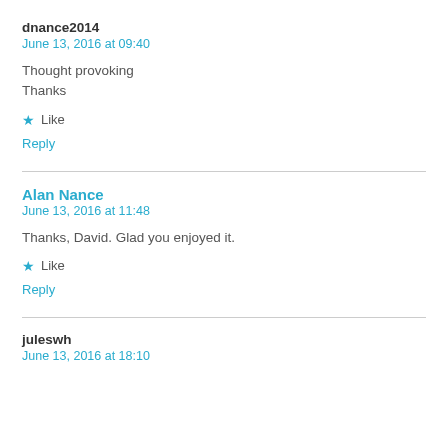dnance2014
June 13, 2016 at 09:40
Thought provoking
Thanks
★ Like
Reply
Alan Nance
June 13, 2016 at 11:48
Thanks, David. Glad you enjoyed it.
★ Like
Reply
juleswh
June 13, 2016 at 18:10